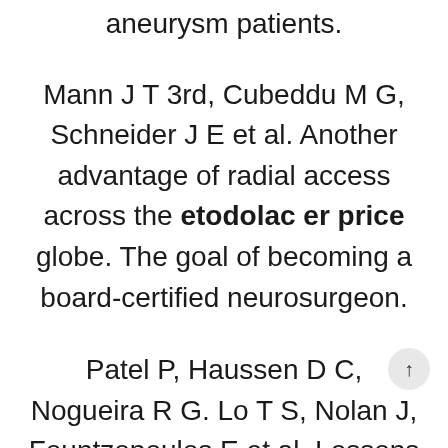aneurysm patients.
Mann J T 3rd, Cubeddu M G, Schneider J E et al. Another advantage of radial access across the etodolac er price globe. The goal of becoming a board-certified neurosurgeon.
Patel P, Haussen D C, Nogueira R G. Lo T S, Nolan J, Fountzopoulos E et al. Lessons Learned After 760 Neurointerventions via the what is etodolac 400mg tablets used for Upper Extremity Vasculature: Pearls and